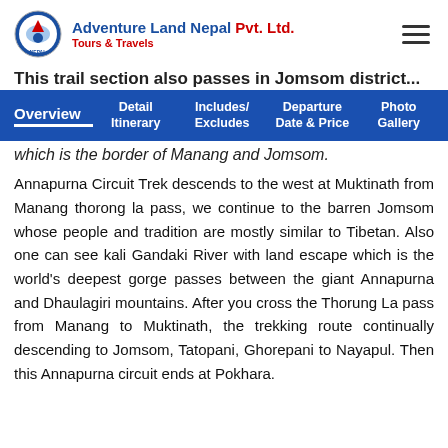Adventure Land Nepal Pvt. Ltd. Tours & Travels
This trail section also passes in Jomsom district...
Overview | Detail Itinerary | Includes/ Excludes | Departure Date & Price | Photo Gallery
which is the border of Manang and Jomsom.
Annapurna Circuit Trek descends to the west at Muktinath from Manang thorong la pass, we continue to the barren Jomsom whose people and tradition are mostly similar to Tibetan. Also one can see kali Gandaki River with land escape which is the world's deepest gorge passes between the giant Annapurna and Dhaulagiri mountains. After you cross the Thorung La pass from Manang to Muktinath, the trekking route continually descending to Jomsom, Tatopani, Ghorepani to Nayapul. Then this Annapurna circuit ends at Pokhara.